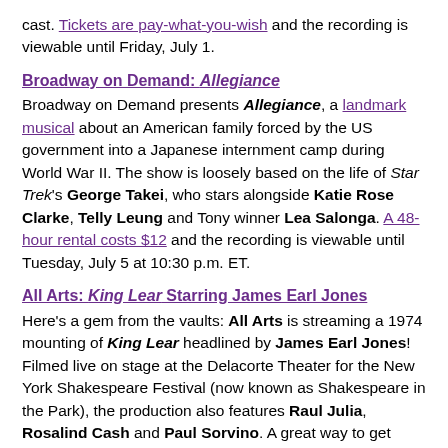cast. Tickets are pay-what-you-wish and the recording is viewable until Friday, July 1.
Broadway on Demand: Allegiance
Broadway on Demand presents Allegiance, a landmark musical about an American family forced by the US government into a Japanese internment camp during World War II. The show is loosely based on the life of Star Trek's George Takei, who stars alongside Katie Rose Clarke, Telly Leung and Tony winner Lea Salonga. A 48-hour rental costs $12 and the recording is viewable until Tuesday, July 5 at 10:30 p.m. ET.
All Arts: King Lear Starring James Earl Jones
Here's a gem from the vaults: All Arts is streaming a 1974 mounting of King Lear headlined by James Earl Jones! Filmed live on stage at the Delacorte Theater for the New York Shakespeare Festival (now known as Shakespeare in the Park), the production also features Raul Julia, Rosalind Cash and Paul Sorvino. A great way to get psyched for the upcoming Shakespeare in the Park season! Watch for free on All Arts' website.